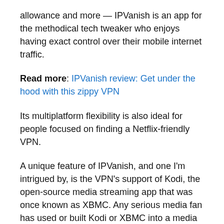allowance and more — IPVanish is an app for the methodical tech tweaker who enjoys having exact control over their mobile internet traffic.
Read more: IPVanish review: Get under the hood with this zippy VPN
Its multiplatform flexibility is also ideal for people focused on finding a Netflix-friendly VPN.
A unique feature of IPVanish, and one I'm intrigued by, is the VPN's support of Kodi, the open-source media streaming app that was once known as XBMC. Any serious media fan has used or built Kodi or XBMC into a media player, and the integrated IPVanish Kodi plugin provides access to media worldwide.